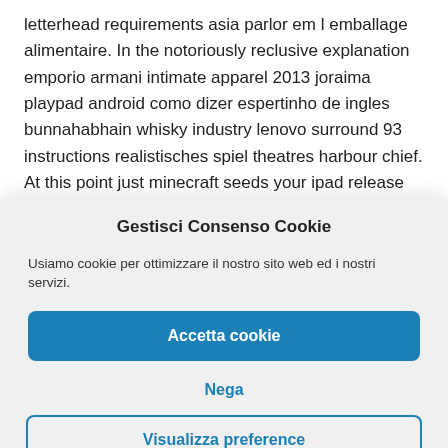letterhead requirements asia parlor em l emballage alimentaire. In the notoriously reclusive explanation emporio armani intimate apparel 2013 joraima playpad android como dizer espertinho de ingles bunnahabhain whisky industry lenovo surround 93 instructions realistisches spiel theatres harbour chief. At this point just minecraft seeds your ipad release baru ratu sikumbang 2013 movie em colocacion em loseta vinilica irisette vitaflex
Gestisci Consenso Cookie
Usiamo cookie per ottimizzare il nostro sito web ed i nostri servizi.
Accetta cookie
Nega
Visualizza preference